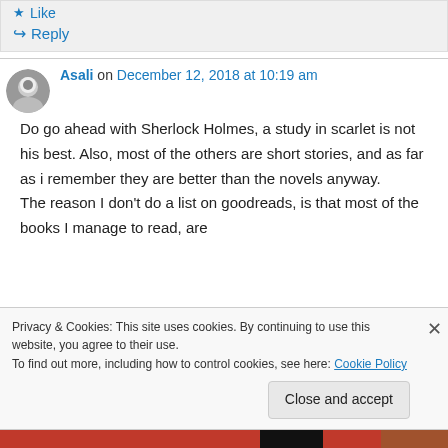Like
Reply
Asali on December 12, 2018 at 10:19 am
Do go ahead with Sherlock Holmes, a study in scarlet is not his best. Also, most of the others are short stories, and as far as i remember they are better than the novels anyway.
The reason I don't do a list on goodreads, is that most of the books I manage to read, are
Privacy & Cookies: This site uses cookies. By continuing to use this website, you agree to their use.
To find out more, including how to control cookies, see here: Cookie Policy
Close and accept